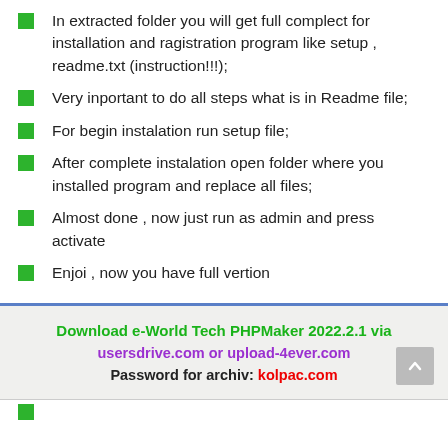In extracted folder you will get full complect for installation and ragistration program like setup , readme.txt (instruction!!!);
Very inportant to do all steps what is in Readme file;
For begin instalation run setup file;
After complete instalation open folder where you installed program and replace all files;
Almost done , now just run as admin and press activate
Enjoi , now you have full vertion
Download e-World Tech PHPMaker 2022.2.1 via usersdrive.com or upload-4ever.com Password for archiv: kolpac.com